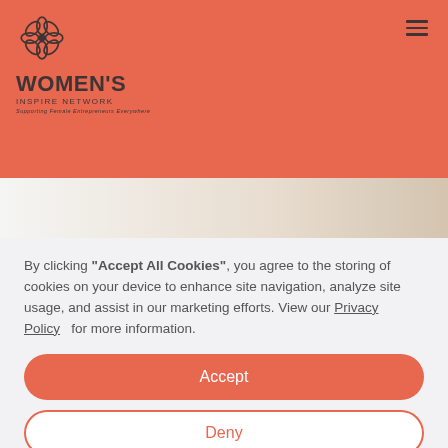[Figure (logo): Women's Inspire Network logo with flower/snowflake icon in salmon/coral color and brand name text]
[Figure (photo): Hero image strip with gradient from white/grey to warm beige/tan]
By clicking "Accept All Cookies", you agree to the storing of cookies on your device to enhance site navigation, analyze site usage, and assist in our marketing efforts. View our Privacy Policy for more information.
Accept
Deny
Preferences